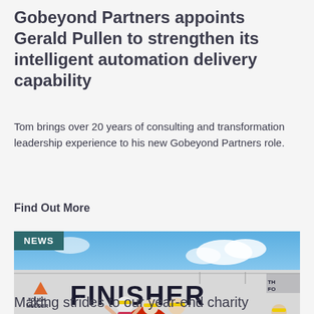Gobeyond Partners appoints Gerald Pullen to strengthen its intelligent automation delivery capability
Tom brings over 20 years of consulting and transformation leadership experience to his new Gobeyond Partners role.
Find Out More
[Figure (photo): Photo of people celebrating at a Tough Mudder Finisher banner in Scotland. Shows participants in front of a large banner reading FINISHER, with START box and SCOTLAND text visible. People wearing colourful headbands pose triumphantly.]
Making strides to our year-end charity